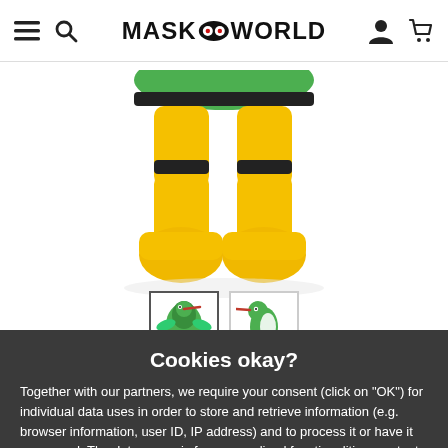MASKWORLD
[Figure (photo): Mascot costume lower body showing yellow legs with black stripes and large yellow shoes/boots, on white background]
[Figure (photo): Thumbnail 1: Full body hummingbird mascot costume in green and yellow]
[Figure (photo): Thumbnail 2: Side view hummingbird mascot costume in green and white]
Cookies okay?
Together with our partners, we require your consent (click on "OK") for individual data uses in order to store and retrieve information (e.g. browser information, user ID, IP address) and to process it or have it processed. The data usage is for personalised functionalities, content and ads
OK